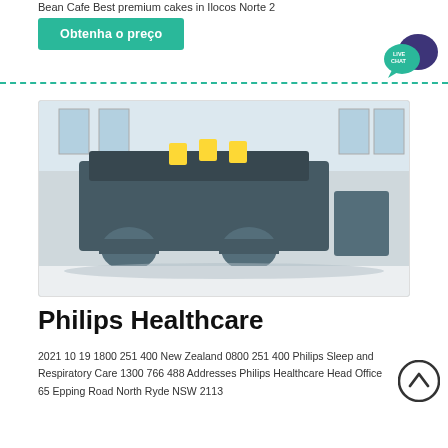Bean Cafe Best premium cakes in Ilocos Norte 2
Obtenha o preço
[Figure (illustration): Live chat speech bubble icon with two overlapping circles in dark purple/indigo color and text 'LIVE CHAT' in teal/green bubble]
[Figure (photo): Large industrial mining or crushing machine in a factory/warehouse setting, dark grey machinery with yellow accents, electric motors visible, on a polished floor]
Philips Healthcare
2021 10 19 1800 251 400 New Zealand 0800 251 400 Philips Sleep and Respiratory Care 1300 766 488 Addresses Philips Healthcare Head Office 65 Epping Road North Ryde NSW 2113